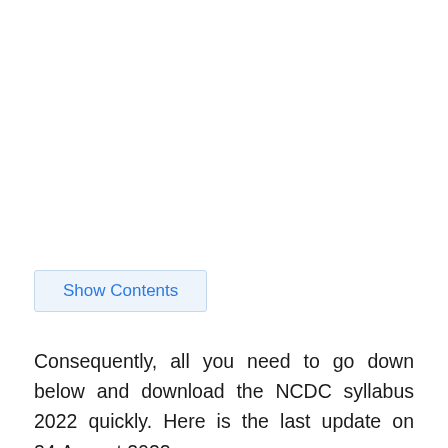Show Contents
Consequently, all you need to go down below and download the NCDC syllabus 2022 quickly. Here is the last update on 24,August 2022.
Nurse Govt Jobs →